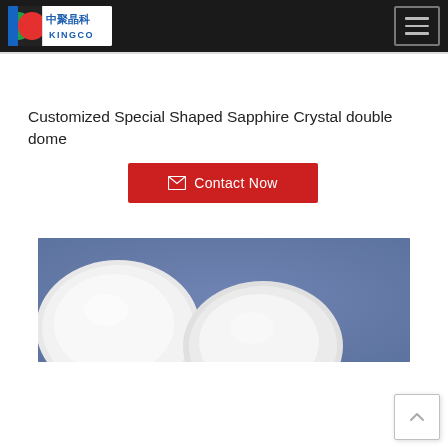KINGCO (中聚晶科) - Navigation header with logo and hamburger menu
Customized Special Shaped Sapphire Crystal double dome
Contact Now
[Figure (photo): Photo of white circular sapphire crystal domes placed on a blue background. Multiple disc-shaped pieces visible.]